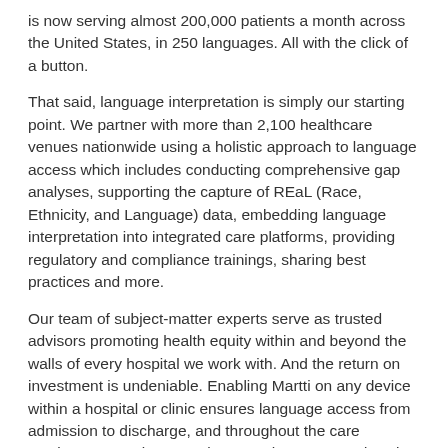is now serving almost 200,000 patients a month across the United States, in 250 languages. All with the click of a button.
That said, language interpretation is simply our starting point. We partner with more than 2,100 healthcare venues nationwide using a holistic approach to language access which includes conducting comprehensive gap analyses, supporting the capture of REaL (Race, Ethnicity, and Language) data, embedding language interpretation into integrated care platforms, providing regulatory and compliance trainings, sharing best practices and more.
Our team of subject-matter experts serve as trusted advisors promoting health equity within and beyond the walls of every hospital we work with. And the return on investment is undeniable. Enabling Martti on any device within a hospital or clinic ensures language access from admission to discharge, and throughout the care continuum – cutting costs by more than 60%, and saving participating healthcare systems over $5.3 billion annually.
Health systems using Martti interpretation services have also seen remarkable growth in their relationships with patients and systemwide increases of focus on diversity, equity, and inclusion.